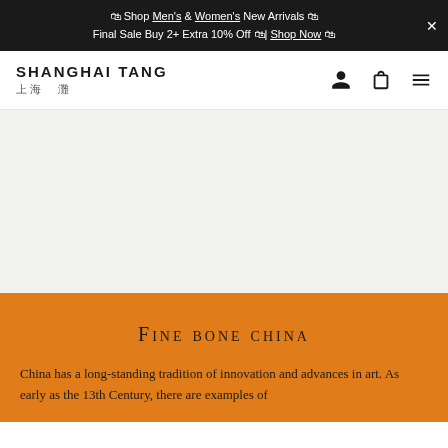🛍 Shop Men's & Women's New Arrivals 🛍 Final Sale Buy 2+ Extra 10% Off 🛍| Shop Now 🛍
[Figure (logo): Shanghai Tang logo with English text 'SHANGHAI TANG' and Chinese characters below, along with user, bag, and menu icons in the navigation bar]
[Figure (photo): Large hero image area with light gray background (image content not visible)]
Fine bone china
China has a long-standing tradition of innovation and advances in art. As early as the 13th Century, there are examples of